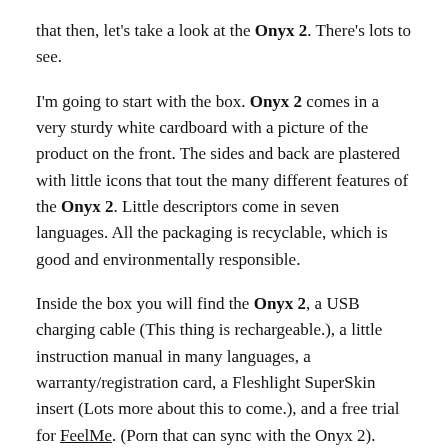that then, let's take a look at the Onyx 2. There's lots to see.
I'm going to start with the box. Onyx 2 comes in a very sturdy white cardboard with a picture of the product on the front. The sides and back are plastered with little icons that tout the many different features of the Onyx 2. Little descriptors come in seven languages. All the packaging is recyclable, which is good and environmentally responsible.
Inside the box you will find the Onyx 2, a USB charging cable (This thing is rechargeable.), a little instruction manual in many languages, a warranty/registration card, a Fleshlight SuperSkin insert (Lots more about this to come.), and a free trial for FeelMe. (Porn that can sync with the Onyx 2).